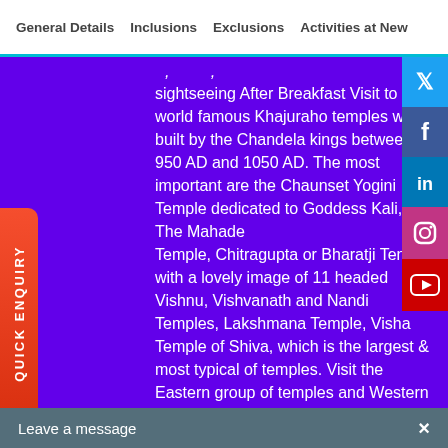General Details   Inclusions   Exclusions   Activities at New
sightseeing After Breakfast Visit to The world famous Khajuraho temples were built by the Chandela kings between 950 AD and 1050 AD. The most important are the Chaunset Yogini Temple dedicated to Goddess Kali, The Mahadev Temple, Chitragupta or Bharatji Temple with a lovely image of 11 headed Vishnu, Vishvanath and Nandi Temples, Lakshmana Temple, Visha Temple of Shiva, which is the largest & most typical of temples. Visit the Eastern group of temples and Western Group of Temple that consist of the Parasvanath Temple - the only Jain Temple surviving at Khajuraho and has excellent sculptures on the outer walls of the Sanctum, the Javeri Temple dedicated to Vishnu. The other temple dedicated to Brahmo, Yo...